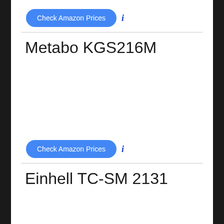[Figure (screenshot): Blue 'Check Amazon Prices' button with info icon]
Metabo KGS216M
[Figure (screenshot): Blue 'Check Amazon Prices' button with info icon]
Einhell TC-SM 2131